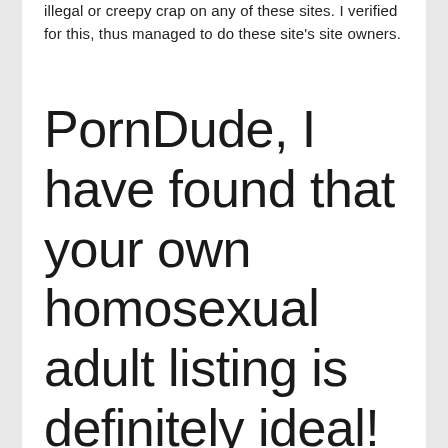illegal or creepy crap on any of these sites. I verified for this, thus managed to do these site's site owners.
PornDude, I have found that your own homosexual adult listing is definitely ideal! Have you got almost every other